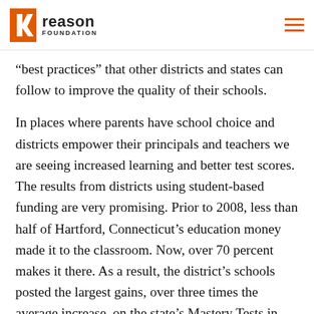Reason Foundation
“best practices” that other districts and states can follow to improve the quality of their schools.
In places where parents have school choice and districts empower their principals and teachers we are seeing increased learning and better test scores. The results from districts using student-based funding are very promising. Prior to 2008, less than half of Hartford, Connecticut’s education money made it to the classroom. Now, over 70 percent makes it there. As a result, the district’s schools posted the largest gains, over three times the average increase, on the state’s Mastery Tests in 2007-08.